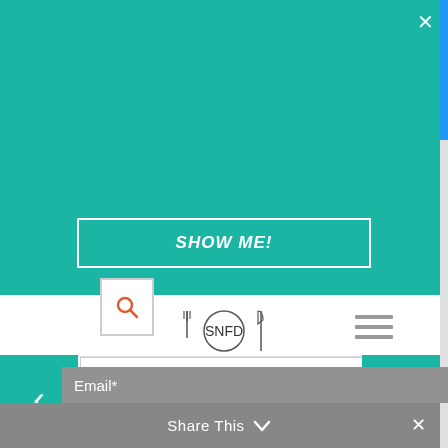[Figure (screenshot): Teal promotional popup overlay with text and button]
Check out my latest nature-centric photography collection & fine-art prints.
SHOW ME!
[Figure (logo): SNFD logo with fork and knife icon in circle]
Comment*
ome*
Email*
Share This